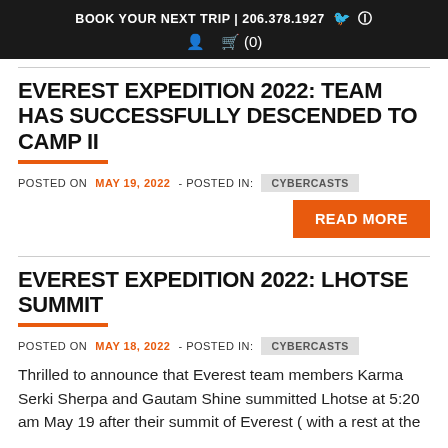BOOK YOUR TRIP | 206.378.1927 [Facebook] [Instagram] [User icon] [Cart] (0)
EVEREST EXPEDITION 2022: TEAM HAS SUCCESSFULLY DESCENDED TO CAMP II
POSTED ON MAY 19, 2022- POSTED IN: CYBERCASTS
READ MORE
EVEREST EXPEDITION 2022: LHOTSE SUMMIT
POSTED ON MAY 18, 2022- POSTED IN: CYBERCASTS
Thrilled to announce that Everest team members Karma Serki Sherpa and Gautam Shine summitted Lhotse at 5:20 am May 19 after their summit of Everest ( with a rest at the